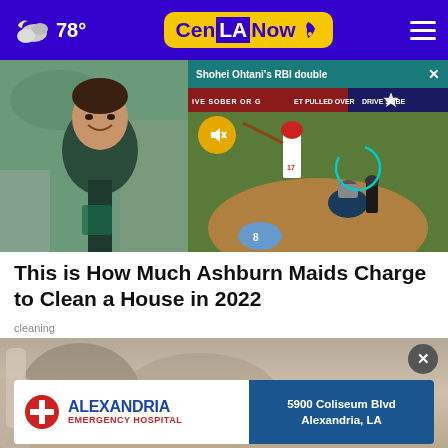CenLA Now — 78° weather
[Figure (screenshot): Left photo: smiling young person in dark polo shirt outdoors near a car. Right: video overlay with teal header bar reading 'Shohei Ohtani's RBI double' with X close button. Video shows baseball game with player batting (number 17), catcher crouching, ad banner reading 'IVE SOBER OR GET PULLED OVER' and 'DRIVE SOBE', mute button (gold circle with speaker icon).]
This is How Much Ashburn Maids Charge to Clean a House in 2022
cleaning
[Figure (photo): Bottom section showing a partial cleaning-related image (blurred/cropped) with a close X button and an advertisement card for Alexandria Emergency Hospital showing '5900 Coliseum Blvd, Alexandria, LA']